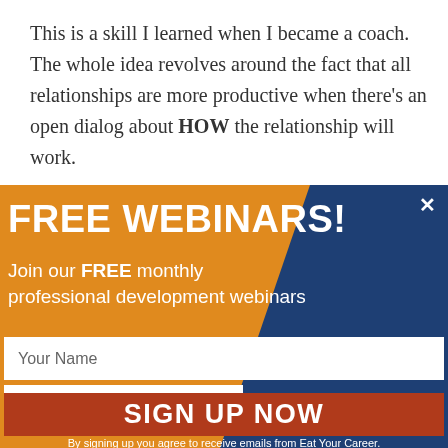This is a skill I learned when I became a coach. The whole idea revolves around the fact that all relationships are more productive when there's an open dialog about HOW the relationship will work.
[Figure (infographic): Popup modal banner for free webinars with orange and dark blue diagonal design, form fields, and sign up button]
FREE WEBINARS!
Join our FREE monthly professional development webinars
Your Name
Your Email Address
SIGN UP NOW
By signing up you agree to receive emails from Eat Your Career.